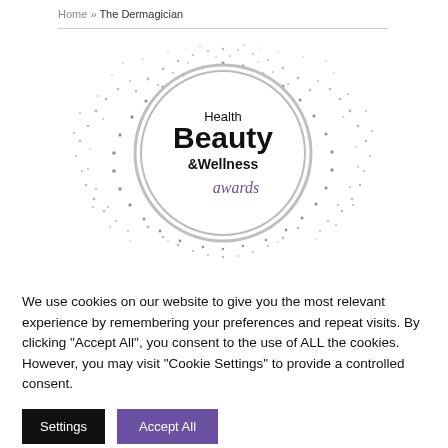Home » The Dermagician
[Figure (logo): Health Beauty & Wellness awards logo — circular badge with glitter/particle burst effect surrounding a white circle containing the text 'Health Beauty & Wellness awards' in mixed serif and sans-serif fonts]
We use cookies on our website to give you the most relevant experience by remembering your preferences and repeat visits. By clicking "Accept All", you consent to the use of ALL the cookies. However, you may visit "Cookie Settings" to provide a controlled consent.
Settings
Accept All